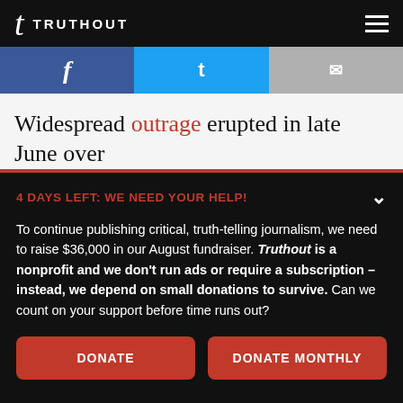TRUTHOUT
[Figure (screenshot): Social media share buttons: Facebook (blue), Twitter (cyan), and a gray share button]
Widespread outrage erupted in late June over
4 DAYS LEFT: WE NEED YOUR HELP!
To continue publishing critical, truth-telling journalism, we need to raise $36,000 in our August fundraiser. Truthout is a nonprofit and we don't run ads or require a subscription – instead, we depend on small donations to survive. Can we count on your support before time runs out?
DONATE
DONATE MONTHLY